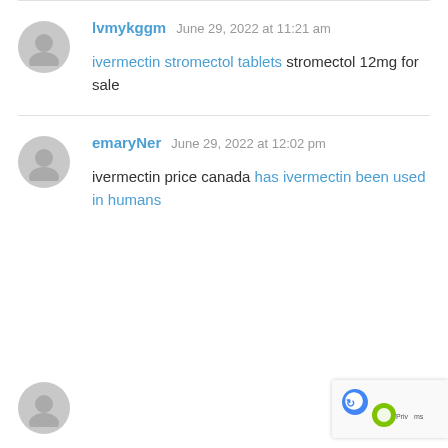lvmykggm  June 29, 2022 at 11:21 am

ivermectin stromectol tablets stromectol 12mg for sale
emaryNer  June 29, 2022 at 12:02 pm

ivermectin price canada has ivermectin been used in humans